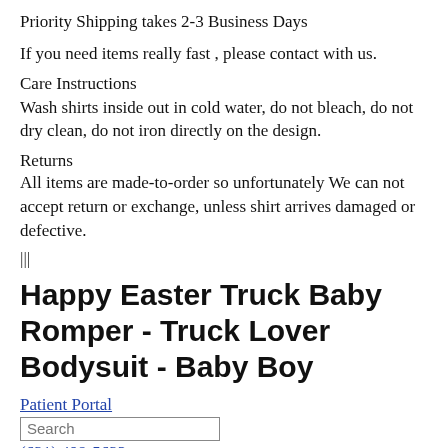Priority Shipping takes 2-3 Business Days
If you need items really fast , please contact with us.
Care Instructions
Wash shirts inside out in cold water, do not bleach, do not dry clean, do not iron directly on the design.
Returns
All items are made-to-order so unfortunately We can not accept return or exchange, unless shirt arrives damaged or defective.
|||
Happy Easter Truck Baby Romper - Truck Lover Bodysuit - Baby Boy
Patient Portal
Search
(631) 498-5632
Contact Us
Long Island Spine Specialists
Menu